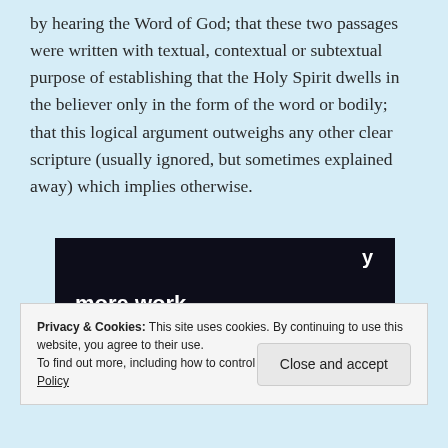by hearing the Word of God; that these two passages were written with textual, contextual or subtextual purpose of establishing that the Holy Spirit dwells in the believer only in the form of the word or bodily; that this logical argument outweighs any other clear scripture (usually ignored, but sometimes explained away) which implies otherwise.
[Figure (other): Dark advertisement banner showing partial text '...y' at top and 'more work.' in large bold white text, with a 'Get started for free' button outlined in white on a dark/black background.]
Privacy & Cookies: This site uses cookies. By continuing to use this website, you agree to their use.
To find out more, including how to control cookies, see here: Cookie Policy

Close and accept